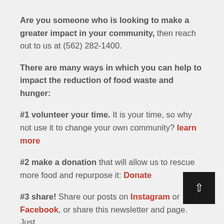Are you someone who is looking to make a greater impact in your community, then reach out to us at (562) 282-1400.
There are many ways in which you can help to impact the reduction of food waste and hunger:
#1 volunteer your time. It is your time, so why not use it to change your own community? learn more
#2 make a donation that will allow us to rescue more food and repurpose it: Donate
#3 share! Share our posts on Instagram or Facebook, or share this newsletter and page. Just